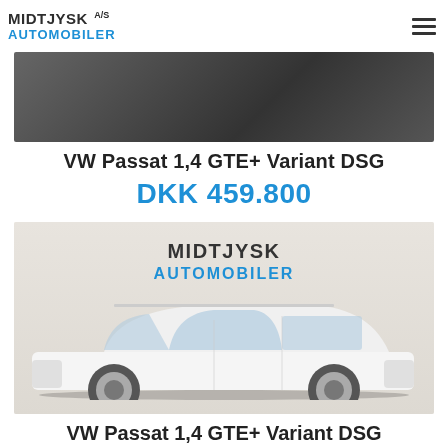MIDTJYSK A/S AUTOMOBILER
[Figure (photo): Partially visible car photo cropped at the top of the page, dark background]
VW Passat 1,4 GTE+ Variant DSG
DKK 459.800
[Figure (photo): White VW Passat Variant station wagon parked in a dealership showroom with MIDTJYSK AUTOMOBILER branding on the wall]
VW Passat 1,4 GTE+ Variant DSG